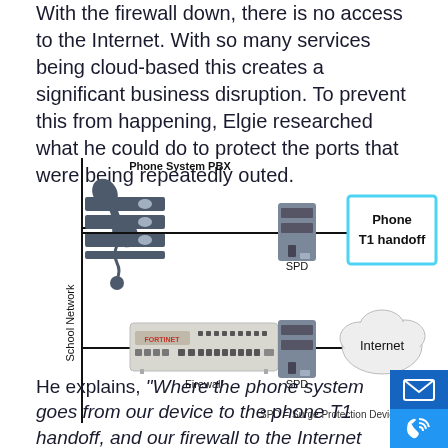With the firewall down, there is no access to the Internet. With so many services being cloud-based this creates a significant business disruption. To prevent this from happening, Elgie researched what he could do to protect the ports that were being repeatedly outed.
[Figure (network-graph): Network diagram showing School Network with Phone System PBX connected to a SPD (Surge Protection Device) leading to Phone T1 handoff (blue box), and a Fortinet Firewall connected to another SPD leading to Internet (cloud). Vertical line labeled School Network on left. Caption: SPD = Surge Protection Devic[e]]
He explains, “Where the phone system goes from our device to the phone T1 handoff, and our firewall to the Internet circuit, the ports were being singed. We installe